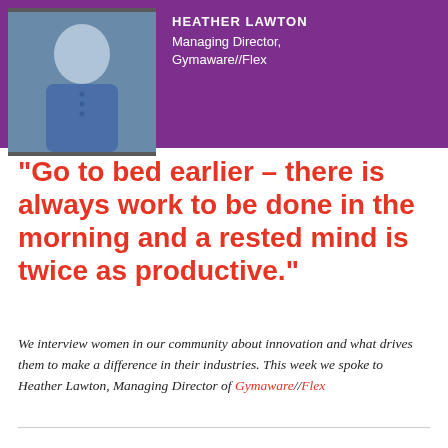[Figure (photo): Header banner with purple background showing a photo of Heather Lawton on the left and text 'Managing Director, Gymaware//Flex' on the right.]
"Go to bed earlier – there is always work to be done in the morning and a rested mind is twice as productive."
We interview women in our community about innovation and what drives them to make a difference in their industries. This week we spoke to Heather Lawton, Managing Director of Gymaware//Flex